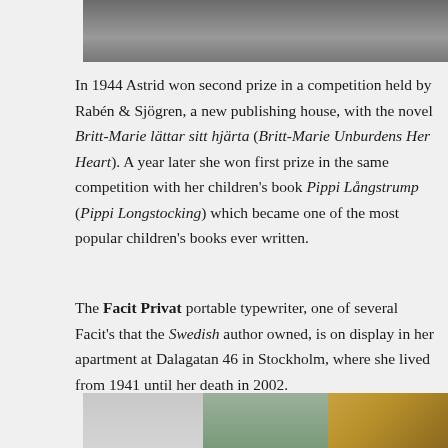[Figure (photo): Black and white photograph, partially visible at top of page]
In 1944 Astrid won second prize in a competition held by Rabén & Sjögren, a new publishing house, with the novel Britt-Marie lättar sitt hjärta (Britt-Marie Unburdens Her Heart). A year later she won first prize in the same competition with her children's book Pippi Långstrump (Pippi Longstocking) which became one of the most popular children's books ever written.
The Facit Privat portable typewriter, one of several Facit's that the Swedish author owned, is on display in her apartment at Dalagatan 46 in Stockholm, where she lived from 1941 until her death in 2002.
[Figure (photo): Color photograph partially visible at bottom of page, showing interior scene with golden bust sculpture]